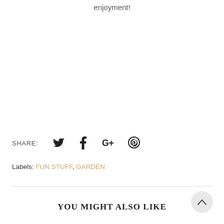enjoyment!
SHARE:
Labels: FUN STUFF, GARDEN
YOU MIGHT ALSO LIKE